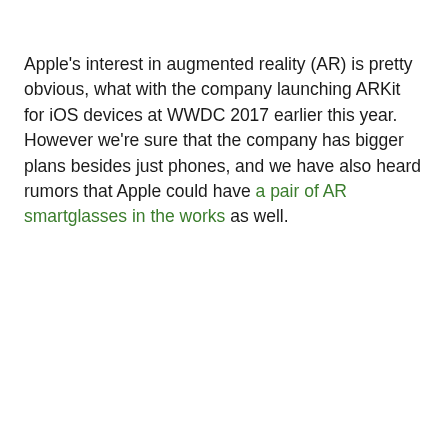Apple's interest in augmented reality (AR) is pretty obvious, what with the company launching ARKit for iOS devices at WWDC 2017 earlier this year. However we're sure that the company has bigger plans besides just phones, and we have also heard rumors that Apple could have a pair of AR smartglasses in the works as well.